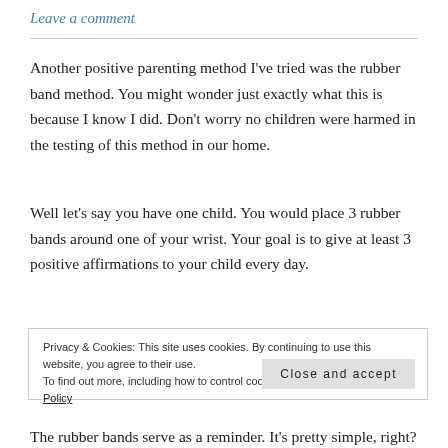Leave a comment
Another positive parenting method I've tried was the rubber band method. You might wonder just exactly what this is because I know I did. Don't worry no children were harmed in the testing of this method in our home.
Well let's say you have one child. You would place 3 rubber bands around one of your wrist. Your goal is to give at least 3 positive affirmations to your child every day.
Privacy & Cookies: This site uses cookies. By continuing to use this website, you agree to their use.
To find out more, including how to control cookies, see here: Our Cookie Policy
The rubber bands serve as a reminder. It's pretty simple, right?